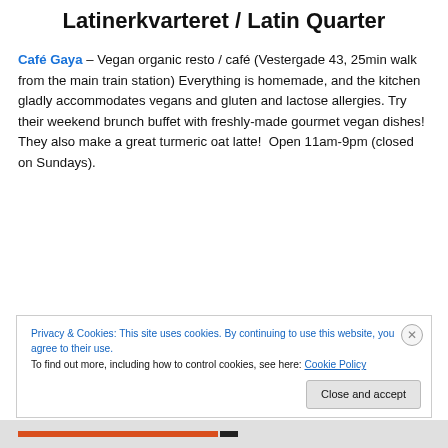Latinerkvarteret / Latin Quarter
Café Gaya – Vegan organic resto / café (Vestergade 43, 25min walk from the main train station) Everything is homemade, and the kitchen gladly accommodates vegans and gluten and lactose allergies. Try their weekend brunch buffet with freshly-made gourmet vegan dishes! They also make a great turmeric oat latte!  Open 11am-9pm (closed on Sundays).
Privacy & Cookies: This site uses cookies. By continuing to use this website, you agree to their use.
To find out more, including how to control cookies, see here: Cookie Policy
Close and accept